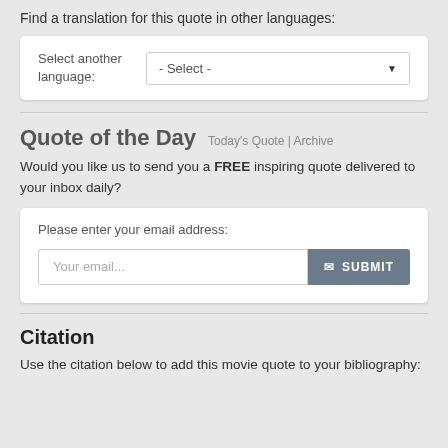Find a translation for this quote in other languages:
[Figure (screenshot): A UI widget with label 'Select another language:' and a dropdown selector showing '- Select -']
Quote of the Day  Today's Quote | Archive
Would you like us to send you a FREE inspiring quote delivered to your inbox daily?
[Figure (screenshot): Email subscription form with 'Please enter your email address:' label, 'Your email...' placeholder input, and a SUBMIT button]
Citation
Use the citation below to add this movie quote to your bibliography: